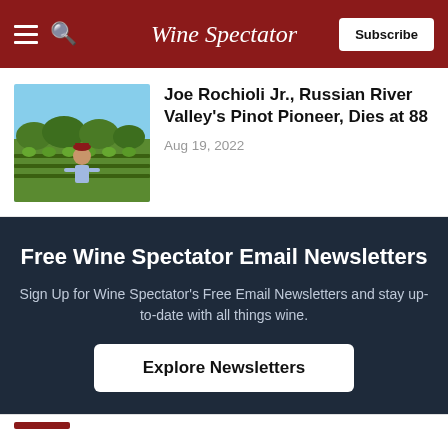Wine Spectator
Joe Rochioli Jr., Russian River Valley's Pinot Pioneer, Dies at 88
Aug 19, 2022
Free Wine Spectator Email Newsletters
Sign Up for Wine Spectator's Free Email Newsletters and stay up-to-date with all things wine.
Explore Newsletters